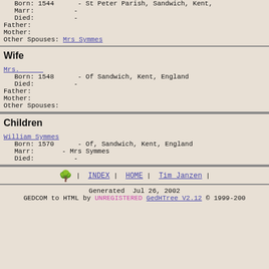Born: 1544   - St Peter Parish, Sandwich, Kent,
Marr:        -
Died:        -
Father:
Mother:
Other Spouses: Mrs Symmes
Wife
Mrs. ___
Born: 1548   - Of Sandwich, Kent, England
Died:        -
Father:
Mother:
Other Spouses:
Children
William Symmes
Born: 1570   - Of, Sandwich, Kent, England
Marr:        - Mrs Symmes
Died:        -
🌳 | INDEX | HOME | Tim Janzen |
Generated  Jul 26, 2002
GEDCOM to HTML by UNREGISTERED GedHTree V2.12 © 1999-200